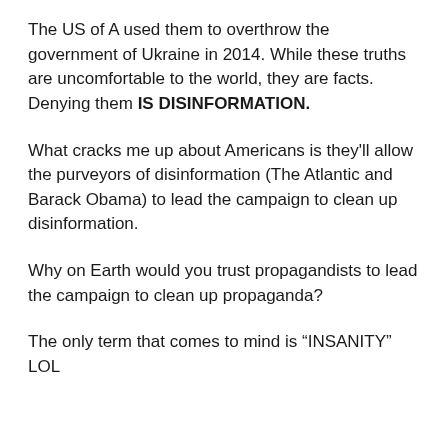The US of A used them to overthrow the government of Ukraine in 2014. While these truths are uncomfortable to the world, they are facts. Denying them IS DISINFORMATION.
What cracks me up about Americans is they'll allow the purveyors of disinformation (The Atlantic and Barack Obama) to lead the campaign to clean up disinformation.
Why on Earth would you trust propagandists to lead the campaign to clean up propaganda?
The only term that comes to mind is “INSANITY” LOL